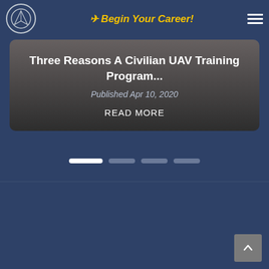Begin Your Career!
Three Reasons A Civilian UAV Training Program...
Published Apr 10, 2020
READ MORE
[Figure (other): Scroll-to-top button with upward arrow]